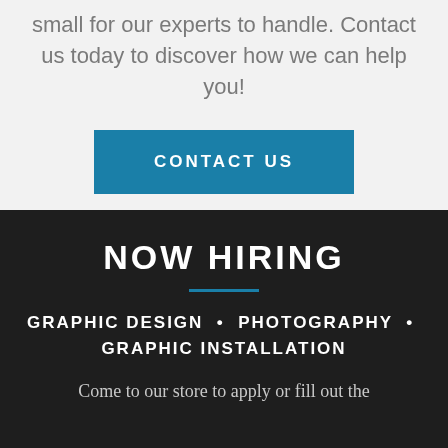small for our experts to handle. Contact us today to discover how we can help you!
CONTACT US
NOW HIRING
GRAPHIC DESIGN • PHOTOGRAPHY • GRAPHIC INSTALLATION
Come to our store to apply or fill out the